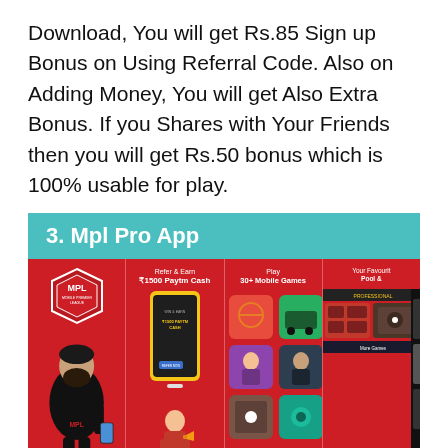Download, You will get Rs.85 Sign up Bonus on Using Referral Code. Also on Adding Money, You will get Also Extra Bonus. If you Shares with Your Friends then you will get Rs.50 bonus which is 100% usable for play.
3. Mpl Pro App
[Figure (photo): Four-panel promotional image for MPL (Mobile Premier League) app. Panel 1: Red background with MPL Mobile Premier League logo/badge and a man in black t-shirt holding phone. Panel 2: Red background with 'Refer & Earn ₹1500 Paytm Cash' text and a phone showing '₹1500 PAYTM CASH' with a cartoon figure. Panel 3: Red background with 'Play 30+ Mobile Games' text and colorful game icons. Panel 4: Red background with 'Your Favourite Pool &' text and game screenshots.]